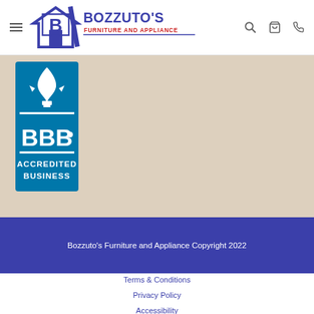Bozzuto's Furniture and Appliance — navigation header with hamburger menu, logo, search, cart, phone icons
[Figure (logo): BBB Accredited Business badge — blue square with white flame/torch icon at top, BBB text in white, ACCREDITED BUSINESS text in white at bottom]
Bozzuto's Furniture and Appliance Copyright 2022
Terms & Conditions
Privacy Policy
Accessibility